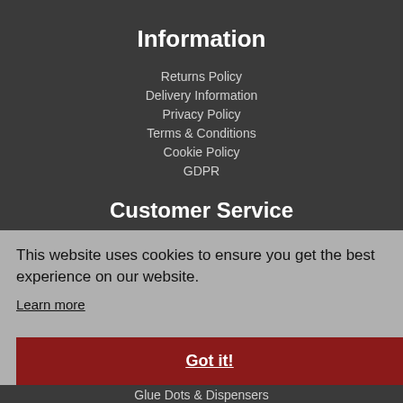Information
Returns Policy
Delivery Information
Privacy Policy
Terms & Conditions
Cookie Policy
GDPR
Customer Service
About GlueGunsDirect.com
Service & Advice
Glue News
Contact Us
Shop
Glue Guns
Glue Sticks & Glue
Glue Dots & Dispensers
Accessories
This website uses cookies to ensure you get the best experience on our website.
Learn more
Got it!